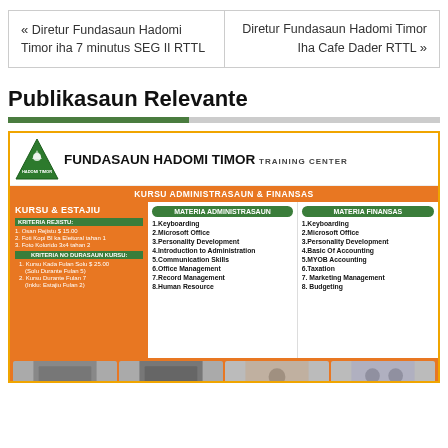« Diretur Fundasaun Hadomi Timor iha 7 minutus SEG II RTTL
Diretur Fundasaun Hadomi Timor Iha Cafe Dader RTTL »
Publikasaun Relevante
[Figure (infographic): Fundasaun Hadomi Timor Training Center infographic showing Kursu Administrasaun & Finansas program with two columns: Materia Administrasaun (Keyboarding, Microsoft Office, Personality Development, Introduction to Administration, Communication Skills, Office Management, Record Management, Human Resource) and Materia Finansas (Keyboarding, Microsoft Office, Personality Development, Basic Of Accounting, MYOB Accounting, Taxation, Marketing Management, Budgeting). Left panel shows Kursu & Estajiu with Kriteria Rejistu and Kriteria No Durasaun Kursu sections.]